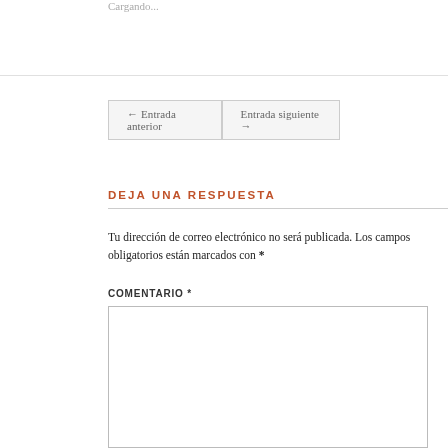Cargando...
← Entrada anterior
Entrada siguiente →
DEJA UNA RESPUESTA
Tu dirección de correo electrónico no será publicada. Los campos obligatorios están marcados con *
COMENTARIO *